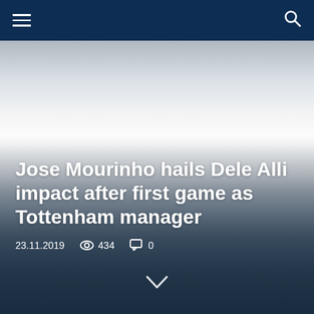Navigation bar with hamburger menu and search icon
[Figure (photo): Hero image with gradient overlay showing a blurred sports/news background, transitioning from light grey/white in the center to dark blue-grey at the bottom]
Jose Mourinho hails Dele Alli impact after first game as Tottenham manager
23.11.2019  434  0